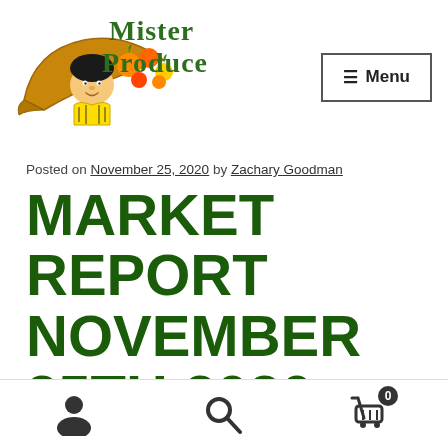[Figure (logo): Mister Produce logo with cartoon character and cornucopia with fruits and vegetables, green text reading Mister Produce]
Posted on November 25, 2020 by Zachary Goodman
MARKET REPORT NOVEMBER 25TH 2020